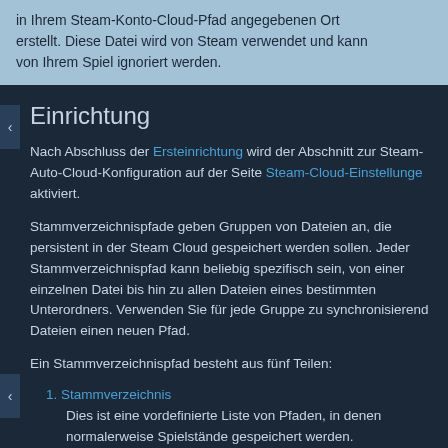in Ihrem Steam-Konto-Cloud-Pfad angegebenen Ort erstellt. Diese Datei wird von Steam verwendet und kann von Ihrem Spiel ignoriert werden.
Einrichtung
Nach Abschluss der Ersteinrichtung wird der Abschnitt zur Steam-Auto-Cloud-Konfiguration auf der Seite Steam-Cloud-Einstellungen aktiviert.
Stammverzeichnispfade geben Gruppen von Dateien an, die persistent in der Steam Cloud gespeichert werden sollen. Jeder Stammverzeichnispfad kann beliebig spezifisch sein, von einer einzelnen Datei bis hin zu allen Dateien eines bestimmten Unterordners. Verwenden Sie für jede Gruppe zu synchronisierenden Dateien einen neuen Pfad.
Ein Stammverzeichnispfad besteht aus fünf Teilen:
1. Stammverzeichnis
Dies ist eine vordefinierte Liste von Pfaden, in denen normalerweise Spielstände gespeichert werden.
| Stammverzeichnis | Unterstützte Betriebssysteme | Zugehöriger Pfa... |
| --- | --- | --- |